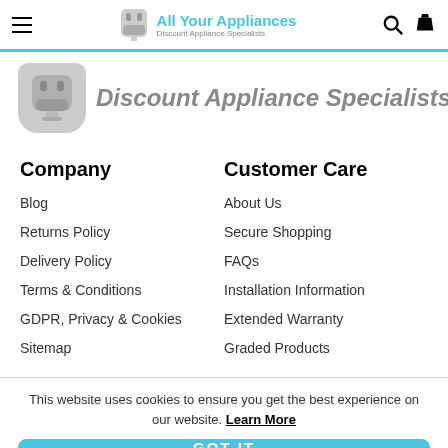All Your Appliances — Discount Appliance Specialists
[Figure (logo): All Your Appliances logo with plug icon and tagline 'Discount Appliance Specialists']
Company
Blog
Returns Policy
Delivery Policy
Terms & Conditions
GDPR, Privacy & Cookies
Sitemap
Customer Care
About Us
Secure Shopping
FAQs
Installation Information
Extended Warranty
Graded Products
This website uses cookies to ensure you get the best experience on our website. Learn More
GOT IT